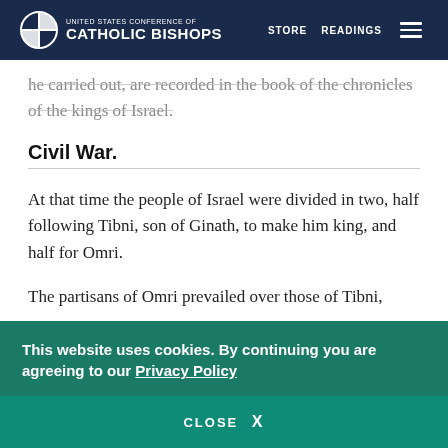United States Conference of Catholic Bishops — STORE  READINGS
he carried out, are recorded in the book of the chronicles of the kings of Israel.
Civil War.
At that time the people of Israel were divided in two, half following Tibni, son of Ginath, to make him king, and half for Omri.
The partisans of Omri prevailed over those of Tibni,
This website uses cookies. By continuing you are agreeing to our Privacy Policy
CLOSE  X